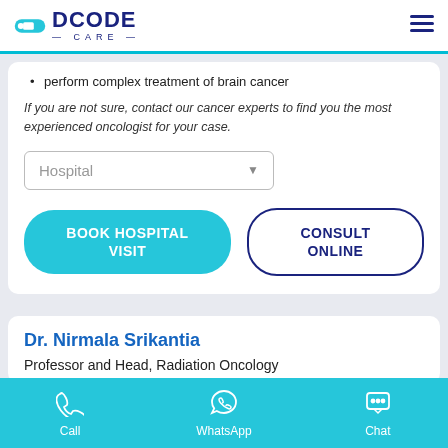DCODE CARE
perform complex treatment of brain cancer
If you are not sure, contact our cancer experts to find you the most experienced oncologist for your case.
Hospital (dropdown)
BOOK HOSPITAL VISIT
CONSULT ONLINE
Dr. Nirmala Srikantia
Professor and Head, Radiation Oncology
Call  WhatsApp  Chat